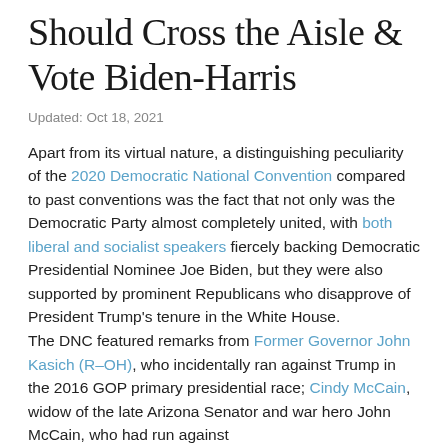Should Cross the Aisle & Vote Biden-Harris
Updated: Oct 18, 2021
Apart from its virtual nature, a distinguishing peculiarity of the 2020 Democratic National Convention compared to past conventions was the fact that not only was the Democratic Party almost completely united, with both liberal and socialist speakers fiercely backing Democratic Presidential Nominee Joe Biden, but they were also supported by prominent Republicans who disapprove of President Trump's tenure in the White House. The DNC featured remarks from Former Governor John Kasich (R–OH), who incidentally ran against Trump in the 2016 GOP primary presidential race; Cindy McCain, widow of the late Arizona Senator and war hero John McCain, who had run against